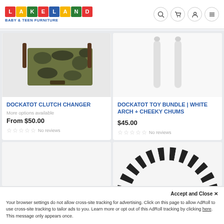LAKELAND BABY & TEEN FURNITURE
[Figure (photo): Camouflage patterned Dockatot Clutch Changer diaper bag partially visible]
DOCKATOT CLUTCH CHANGER
More options available
From $50.00
No reviews
[Figure (photo): White arch toy bundle accessories on white background]
DOCKATOT TOY BUNDLE | WHITE ARCH + CHEEKY CHUMS
$45.00
No reviews
[Figure (photo): Partial view of a blank/empty product card bottom left]
[Figure (photo): Black and white striped circular arch accessory, partially visible in bottom right card]
Accept and Close ✕
Your browser settings do not allow cross-site tracking for advertising. Click on this page to allow AdRoll to use cross-site tracking to tailor ads to you. Learn more or opt out of this AdRoll tracking by clicking here. This message only appears once.